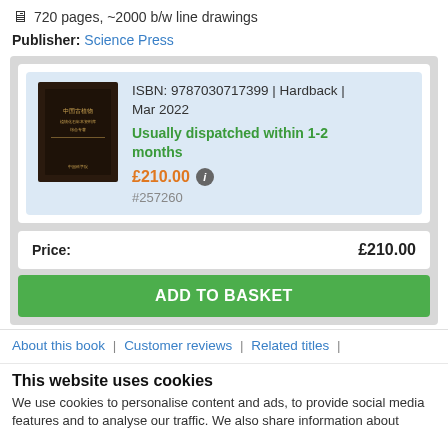🖥 720 pages, ~2000 b/w line drawings
Publisher: Science Press
[Figure (other): Book product card with cover image, ISBN, price, and add to basket button]
About this book | Customer reviews | Related titles |
This website uses cookies
We use cookies to personalise content and ads, to provide social media features and to analyse our traffic. We also share information about...